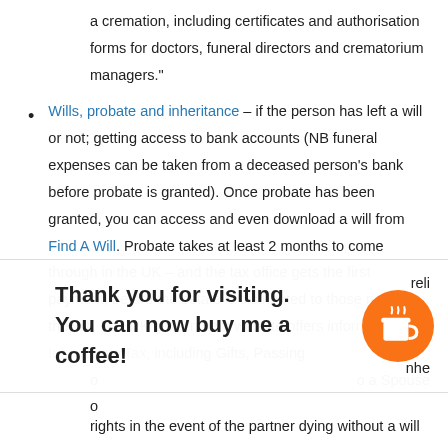a cremation, including certificates and authorisation forms for doctors, funeral directors and crematorium managers."
Wills, probate and inheritance – if the person has left a will or not; getting access to bank accounts (NB funeral expenses can be taken from a deceased person's bank before probate is granted). Once probate has been granted, you can access and even download a will from Find A Will. Probate takes at least 2 months to come through in the UK – and the tax office gets the first payment, before the estate is distributed to those named in the will. The UK government website offers information on Inheritance Tax, including Gifts, Passing on a Spouse [relief] [Inhe]ritance rights in the event of the partner dying without a will
[Figure (other): A popup notification saying 'Thank you for visiting. You can now buy me a coffee!' with an orange circular coffee cup button on the right.]